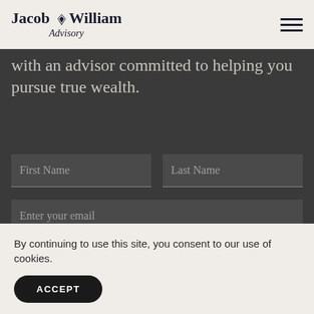Jacob William Advisory
with an advisor committed to helping you pursue true wealth.
First Name | Last Name
Enter your email
Phone Number
By continuing to use this site, you consent to our use of cookies.
ACCEPT